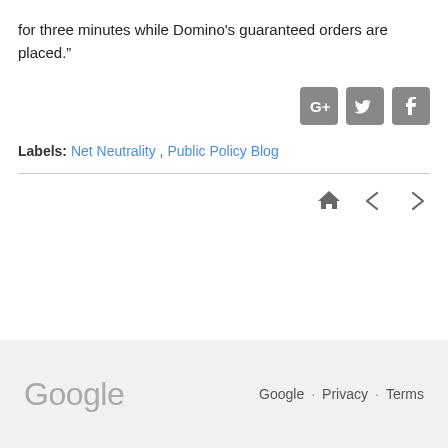for three minutes while Domino's guaranteed orders are placed.”
[Figure (other): Social sharing icons: Google+, Twitter, Facebook]
Labels: Net Neutrality , Public Policy Blog
[Figure (other): Navigation icons: home, left arrow, right arrow]
Google  Google · Privacy · Terms